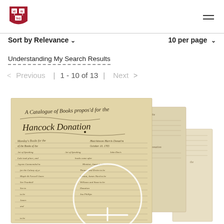Harvard University Library
Sort by Relevance ∨   10 per page ∨
Understanding My Search Results
< Previous | 1 - 10 of 13 | Next >
[Figure (photo): Historical handwritten manuscripts showing cursive script, appearing to be colonial-era documents including what looks like 'A Catalogue of Books proposed for the Hancock Donation'. Multiple overlapping manuscript pages are shown with a zoom/magnify icon overlay.]